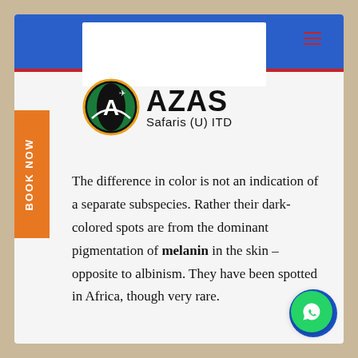[Figure (logo): AZAS Safaris (U) ITD logo with circular globe graphic and airplane]
The difference in color is not an indication of a separate subspecies. Rather their dark-colored spots are from the dominant pigmentation of melanin in the skin – opposite to albinism. They have been spotted in Africa, though very rare.